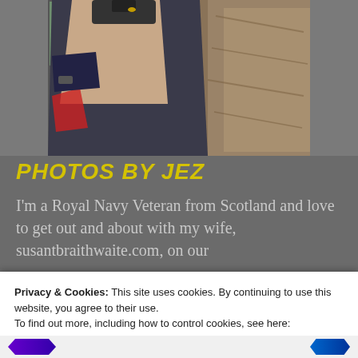[Figure (photo): A person photographing, wearing a dark cycling jersey, arms raised holding camera, against a stone/rock background]
PHOTOS BY JEZ
I'm a Royal Navy Veteran from Scotland and love to get out and about with my wife, susantbraithwaite.com, on our
Privacy & Cookies: This site uses cookies. By continuing to use this website, you agree to their use.
To find out more, including how to control cookies, see here: Cookie Policy
Close and accept